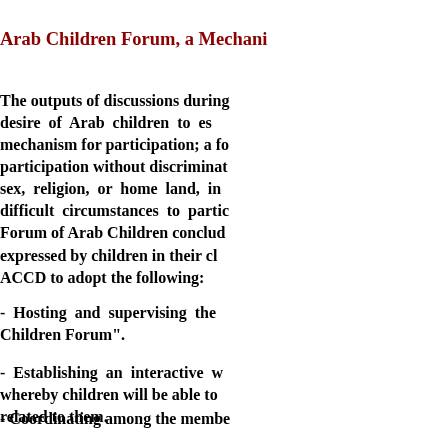Arab Children Forum, a Mechani...
The outputs of discussions during... desire of Arab children to es... mechanism for participation; a fo... participation without discriminat... sex, religion, or home land, in... difficult circumstances to partic... Forum of Arab Children conclud... expressed by children in their cl... ACCD to adopt the following:
- Hosting and supervising the... Children Forum".
- Establishing an interactive w... whereby children will be able to... related to them.
- Coordinating among the membe...
Sawa Online Website: www.sawa-...